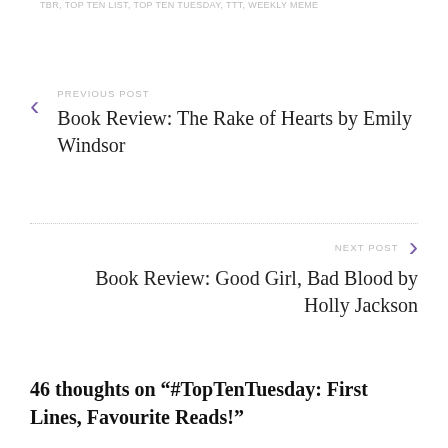TBR, TOP TEN LIST, TOP TEN TUESDAY, TTT, WEEKLY MEME
PREVIOUS POST
Book Review: The Rake of Hearts by Emily Windsor
NEXT POST
Book Review: Good Girl, Bad Blood by Holly Jackson
46 thoughts on “#TopTenTuesday: First Lines, Favourite Reads!”